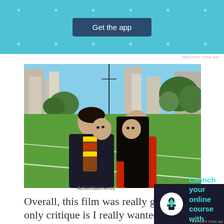[Figure (screenshot): Top advertisement banner with light blue background, 'Get the app' button in dark navy, plus signs decorating the background]
REPORT THIS AD
[Figure (photo): Movie still showing two young characters facing each other closely on a sports field with city buildings and trees in background. Male character in dark hoodie on left, female character in red coat with long dark hair on right.]
Overall, this film was really great. My only critique is I really wanted to see more of Lara
Advertisements
[Figure (screenshot): Bottom advertisement banner with dark navy background. White circle icon with tree/person symbol, teal text 'Launch your online course with WordPress', 'Learn More' button in white outline]